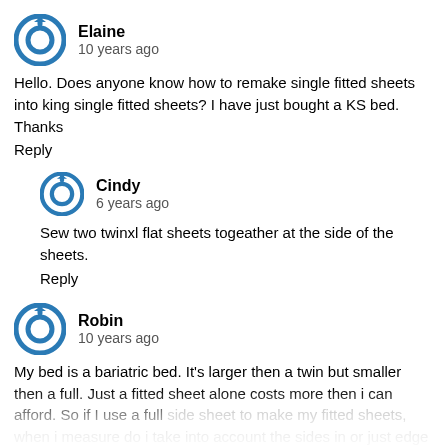Elaine
10 years ago
Hello. Does anyone know how to remake single fitted sheets into king single fitted sheets? I have just bought a KS bed. Thanks
Reply
Cindy
6 years ago
Sew two twinxl flat sheets togeather at the side of the sheets.
Reply
Robin
10 years ago
My bed is a bariatric bed. It's larger then a twin but smaller then a full. Just a fitted sheet alone costs more then i can afford. So if I use a full side sheet to make my fitted sheets, when i measure do i take into account the sides in or just edge to edge across the top to trim?